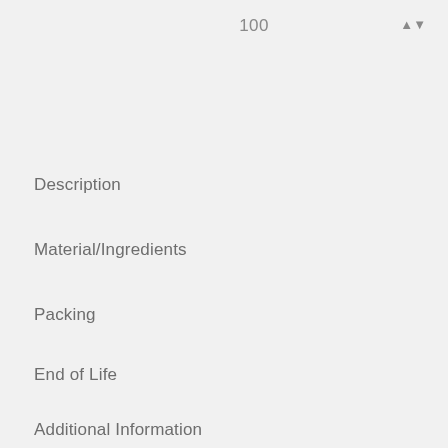100
Description
Material/Ingredients
Packing
End of Life
Additional Information